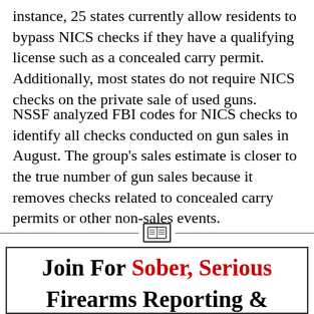instance, 25 states currently allow residents to bypass NICS checks if they have a qualifying license such as a concealed carry permit. Additionally, most states do not require NICS checks on the private sale of used guns.
NSSF analyzed FBI codes for NICS checks to identify all checks conducted on gun sales in August. The group's sales estimate is closer to the true number of gun sales because it removes checks related to concealed carry permits or other non-sales events.
[Figure (other): Horizontal divider with a document/table icon in the center]
Join For Sober, Serious Firearms Reporting & Analysis